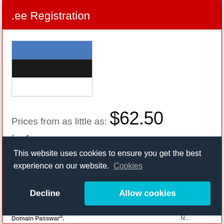.ee Registration
[Figure (illustration): Estonian flag — three horizontal stripes: blue on top, black in middle, white on bottom]
Prices from as little as: $62.50 for 1 year.
This website uses cookies to ensure you get the best experience on our website. Cookies
Decline
Allow cookies
| Super Lock |  | No |
| --- | --- | --- |
| Domain Passwar... |  | N... |